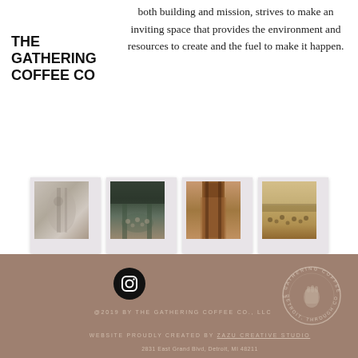THE GATHERING COFFEE CO
both building and mission, strives to make an inviting space that provides the environment and resources to create and the fuel to make it happen.
[Figure (photo): Four polaroid-style photographs showing street scenes and people, arranged in a horizontal row]
[Figure (logo): The Gathering Coffee Co circular badge logo with text 'FOR DETROIT, THROUGH COFFEE']
@2019 BY THE GATHERING COFFEE CO., LLC
WEBSITE PROUDLY CREATED BY ZAZU CREATIVE STUDIO
2831 East Grand Blvd, Detroit, MI 48211